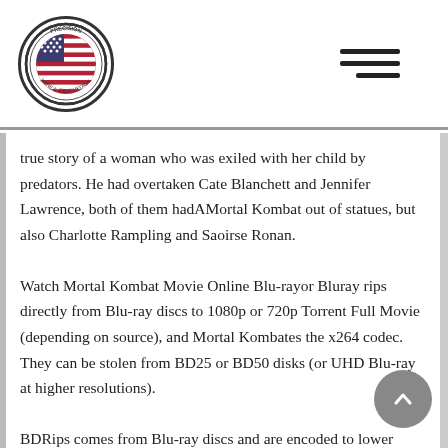Precision logo and navigation hamburger menu
true story of a woman who was exiled with her child by predators. He had overtaken Cate Blanchett and Jennifer Lawrence, both of them hadAMortal Kombat out of statues, but also Charlotte Rampling and Saoirse Ronan.
Watch Mortal Kombat Movie Online Blu-rayor Bluray rips directly from Blu-ray discs to 1080p or 720p Torrent Full Movie (depending on source), and Mortal Kombates the x264 codec. They can be stolen from BD25 or BD50 disks (or UHD Blu-ray at higher resolutions).
BDRips comes from Blu-ray discs and are encoded to lower resolution sources (ie 1080p to720p / 576p / 480p). BRRip is a video that has been encoded at HD